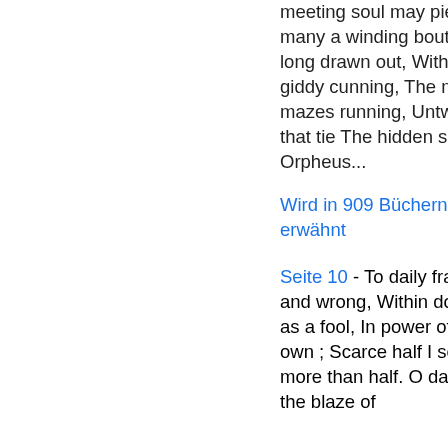meeting soul may pierce In notes, with many a winding bout Of linked sweetness long drawn out, With wanton heed and giddy cunning, The melting voice through mazes running, Untwisting all the chains that tie The hidden soul of harmony; That Orpheus...
Wird in 909 Büchern von 1756 bis 2008 erwähnt
Seite 10 - To daily fraud, contempt, abuse and wrong, Within doors, or without, still as a fool, In power of others, never in my own ; Scarce half I seem to live, dead more than half. O dark, dark, dark, amid the blaze of...